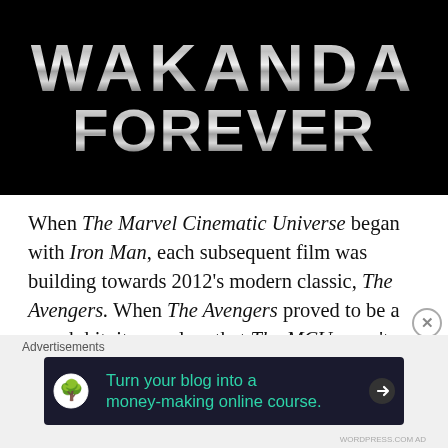[Figure (illustration): Black Panther: Wakanda Forever movie title card on black background with large metallic silver chrome lettered text reading WAKANDA FOREVER]
When The Marvel Cinematic Universe began with Iron Man, each subsequent film was building towards 2012's modern classic, The Avengers. When The Avengers proved to be a smash hit, it was clear that The MCU wasn't going anywhere. As they continued to build their mythology, the characters I wanted to see on the big screen more than any others were Doctor Strange and Black Panther. When they finally made their debut in
Advertisements
[Figure (screenshot): Advertisement banner: dark navy background with circular tree/person icon on left, teal text reading 'Turn your blog into a money-making online course.' and a white right arrow on the right.]